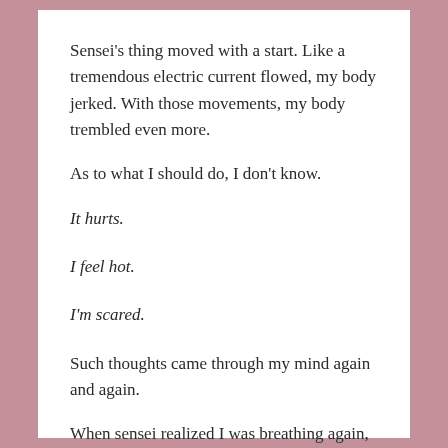Sensei's thing moved with a start. Like a tremendous electric current flowed, my body jerked. With those movements, my body trembled even more.
As to what I should do, I don't know.
It hurts.
I feel hot.
I'm scared.
Such thoughts came through my mind again and again.
When sensei realized I was breathing again, he seemed to be relieved.